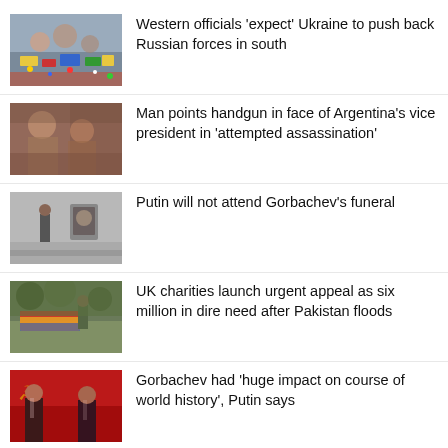[Figure (photo): Colorful scene with flags or confetti, blurred background]
Western officials ‘expect’ Ukraine to push back Russian forces in south
[Figure (photo): Blurred crowd scene, brown and orange tones]
Man points handgun in face of Argentina’s vice president in ‘attempted assassination’
[Figure (photo): Indoor scene with a person standing near an easel with portrait, gray tones]
Putin will not attend Gorbachev’s funeral
[Figure (photo): Outdoor scene with colorful fabric and a person, green tones]
UK charities launch urgent appeal as six million in dire need after Pakistan floods
[Figure (photo): Two men in suits, red Soviet flag in background]
Gorbachev had ‘huge impact on course of world history’, Putin says